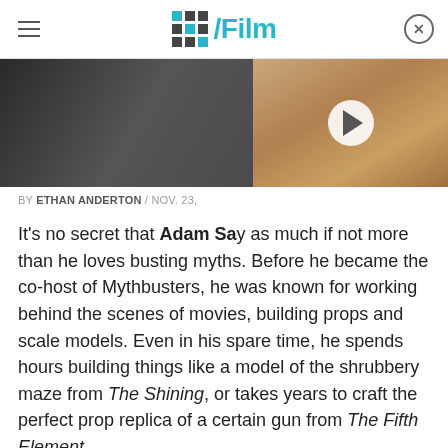/Film
[Figure (photo): Left side: dark scene with person. Right side: close-up of young boy with play button overlay (video thumbnail)]
BY ETHAN ANDERTON / NOV. 23,
It's no secret that Adam Sa... as much if not more than he loves busting myths. Before he became the co-host of Mythbusters, he was known for working behind the scenes of movies, building props and scale models. Even in his spare time, he spends hours building things like a model of the shrubbery maze from The Shining, or takes years to craft the perfect prop replica of a certain gun from The Fifth Element.